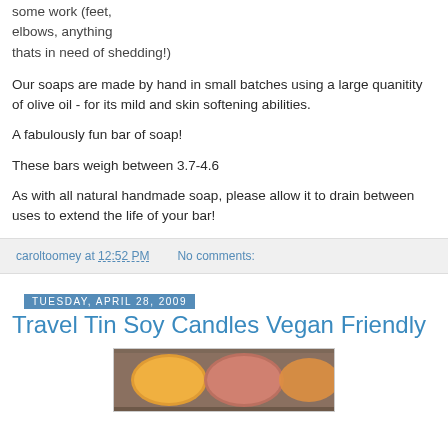some work (feet, elbows, anything thats in need of shedding!)
Our soaps are made by hand in small batches using a large quanitity of olive oil - for its mild and skin softening abilities.
A fabulously fun bar of soap!
These bars weigh between 3.7-4.6
As with all natural handmade soap, please allow it to drain between uses to extend the life of your bar!
caroltoomey at 12:52 PM   No comments:
Tuesday, April 28, 2009
Travel Tin Soy Candles Vegan Friendly
[Figure (photo): Photo of travel tin soy candles in orange and pink colors]